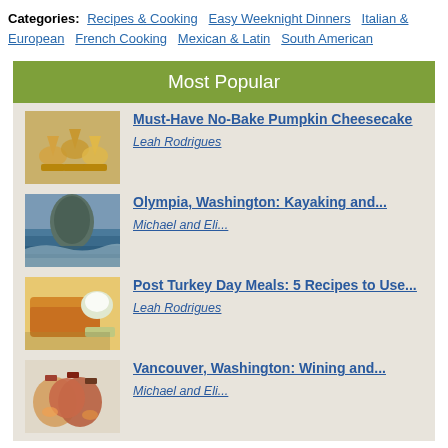Categories: Recipes & Cooking  Easy Weeknight Dinners  Italian & European  French Cooking  Mexican & Latin  South American
Most Popular
Must-Have No-Bake Pumpkin Cheesecake — Leah Rodrigues
Olympia, Washington: Kayaking and... — Michael and Eli...
Post Turkey Day Meals: 5 Recipes to Use... — Leah Rodrigues
Vancouver, Washington: Wining and... — Michael and Eli...